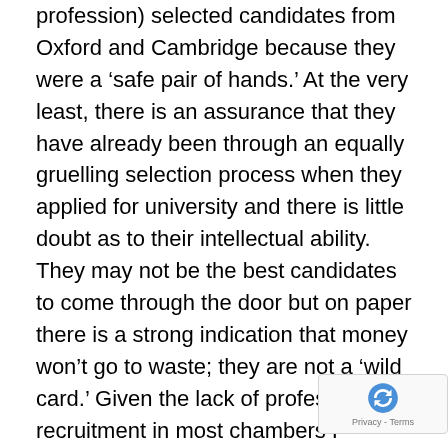profession) selected candidates from Oxford and Cambridge because they were a 'safe pair of hands.' At the very least, there is an assurance that they have already been through an equally gruelling selection process when they applied for university and there is little doubt as to their intellectual ability. They may not be the best candidates to come through the door but on paper there is a strong indication that money won't go to waste; they are not a 'wild card.' Given the lack of professional recruitment in most chambers I suspect this may be partly, although not wholly, the case. However, I think it is even more likely